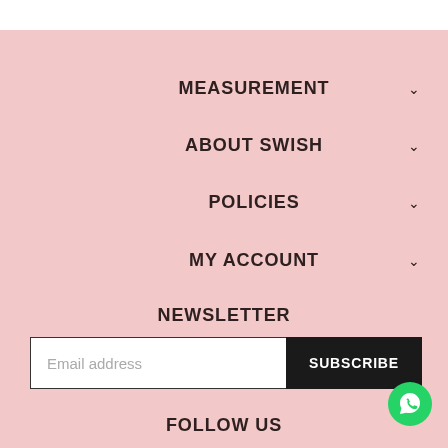MEASUREMENT
ABOUT SWISH
POLICIES
MY ACCOUNT
NEWSLETTER
Email address
SUBSCRIBE
FOLLOW US